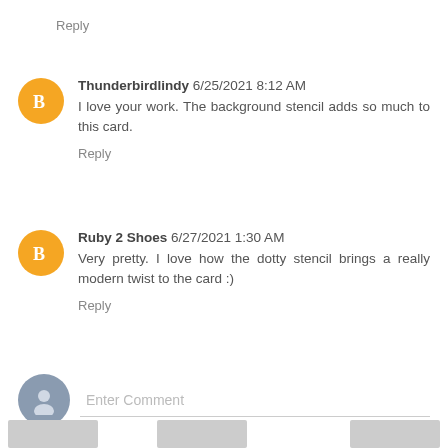Reply
Thunderbirdlindy 6/25/2021 8:12 AM
I love your work. The background stencil adds so much to this card.
Reply
Ruby 2 Shoes 6/27/2021 1:30 AM
Very pretty. I love how the dotty stencil brings a really modern twist to the card :)
Reply
Enter Comment